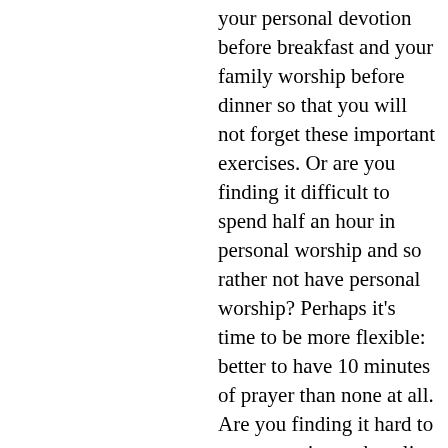your personal devotion before breakfast and your family worship before dinner so that you will not forget these important exercises. Or are you finding it difficult to spend half an hour in personal worship and so rather not have personal worship? Perhaps it's time to be more flexible: better to have 10 minutes of prayer than none at all. Are you finding it hard to pray ten minutes kneeling without falling asleep? Perhaps it's time to pray standing at the window. Have iniquity abound because you have a habit of shouting at your children for nitty-gritty